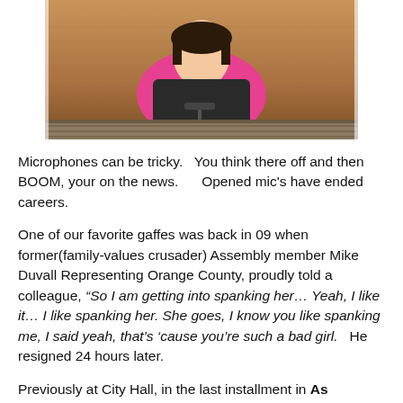[Figure (photo): A person wearing a pink top seated at what appears to be a city council or assembly chamber desk, viewed from the chest up, with a dark chair back and microphone visible. Wood-paneled background with a decorative horizontal band at the bottom of the image.]
Microphones can be tricky.   You think there off and then BOOM, your on the news.      Opened mic's have ended careers.
One of our favorite gaffes was back in 09 when former(family-values crusader) Assembly member Mike Duvall Representing Orange County, proudly told a colleague, “So I am getting into spanking her… Yeah, I like it… I like spanking her. She goes, I know you like spanking me, I said yeah, that’s ‘cause you’re such a bad girl.   He resigned 24 hours later.
Previously at City Hall, in the last installment in As